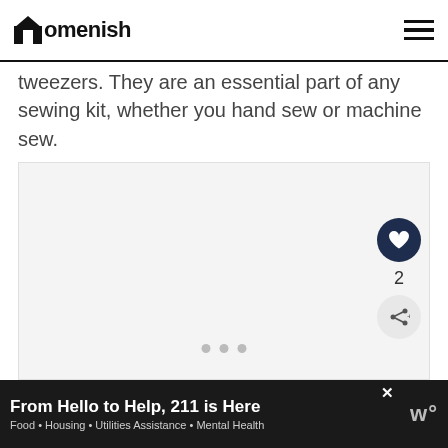Homenish
tweezers. They are an essential part of any sewing kit, whether you hand sew or machine sew.
[Figure (photo): Light gray image placeholder area with three dots at the bottom center indicating a carousel or loading state. A heart/like button (dark navy circle), count of 2, and share button are overlaid on the right side.]
From Hello to Help, 211 is Here — Food • Housing • Utilities Assistance • Mental Health